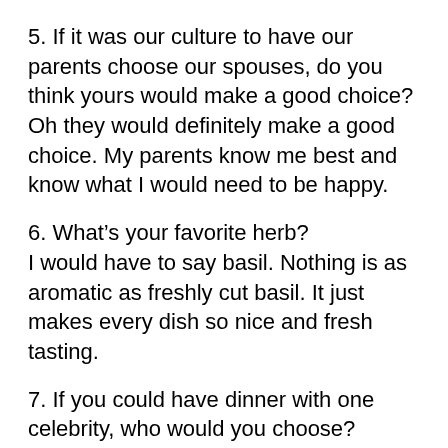5. If it was our culture to have our parents choose our spouses, do you think yours would make a good choice? Oh they would definitely make a good choice. My parents know me best and know what I would need to be happy.
6. What's your favorite herb? I would have to say basil. Nothing is as aromatic as freshly cut basil. It just makes every dish so nice and fresh tasting.
7. If you could have dinner with one celebrity, who would you choose? I've always wanted to have the chance to sit down and really talk with Raine Maida. Yes I had the typical school girl crush on him – and still think he's a beautiful man – but there's something so deep about him. It would be really interesting to get to know how he thinks in his leisure and...